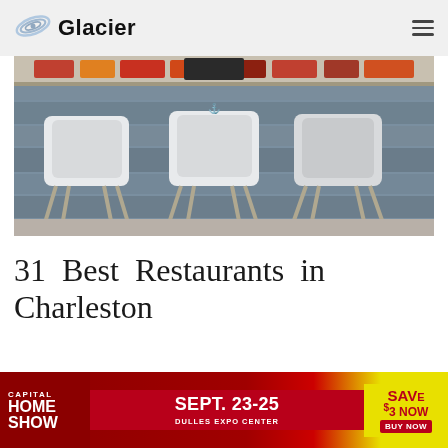Glacier
[Figure (photo): Interior of a restaurant bar showing three white modern bar stools with wooden legs in front of a weathered wood paneled wall, with a long bar counter in the background decorated with colorful signs and bottles.]
31 Best Restaurants in Charleston
[Figure (photo): Partial view of a restaurant interior, showing white walls and decor elements, partially obscured by a popup overlay.]
[Figure (infographic): Advertisement banner for Capital Home Show, Sept. 23-25 at Dulles Expo Center. Save $3 now. Buy Now.]